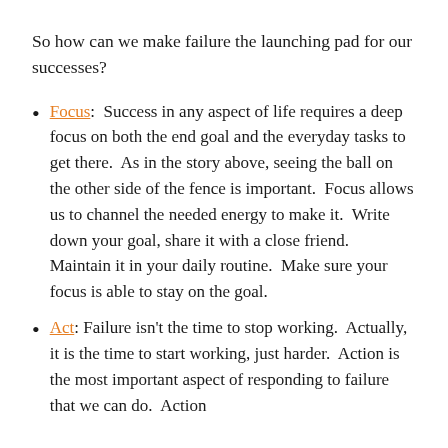So how can we make failure the launching pad for our successes?
Focus: Success in any aspect of life requires a deep focus on both the end goal and the everyday tasks to get there. As in the story above, seeing the ball on the other side of the fence is important. Focus allows us to channel the needed energy to make it. Write down your goal, share it with a close friend. Maintain it in your daily routine. Make sure your focus is able to stay on the goal.
Act: Failure isn't the time to stop working. Actually, it is the time to start working, just harder. Action is the most important aspect of responding to failure that we can do. Action